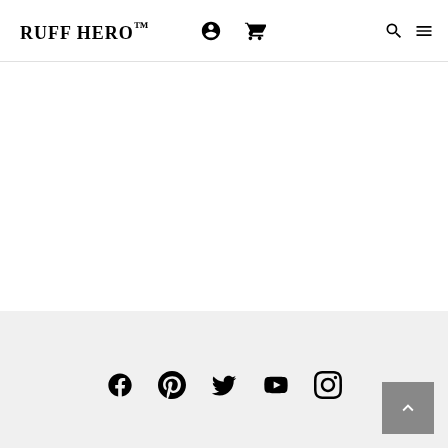RUFF HERO™
[Figure (other): Empty white content area]
Social media icons: Facebook, Pinterest, Twitter, YouTube, Instagram